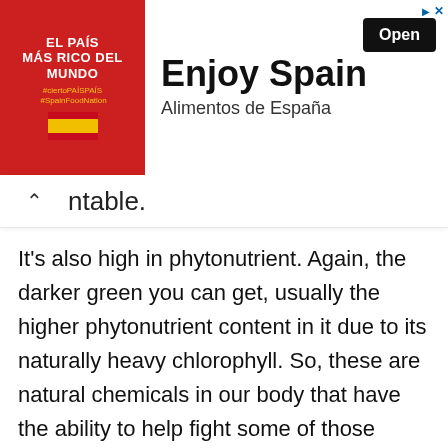[Figure (screenshot): Advertisement banner for 'Enjoy Spain / Alimentos de España' with a red left panel showing 'EL PAÍS MÁS RICO DEL MUNDO' and a Spanish flag, and a white right panel with bold text 'Enjoy Spain', subtitle 'Alimentos de España', and a black 'Open' button. Small arrow and X icons in top-right corner.]
ntable.
It's also high in phytonutrient. Again, the darker green you can get, usually the higher phytonutrient content in it due to its naturally heavy chlorophyll. So, these are natural chemicals in our body that have the ability to help fight some of those diseases like heart disease. So, it's a little higher in calories, not that these calories are an issue whatsoever, but just that it's a little more substantial than other